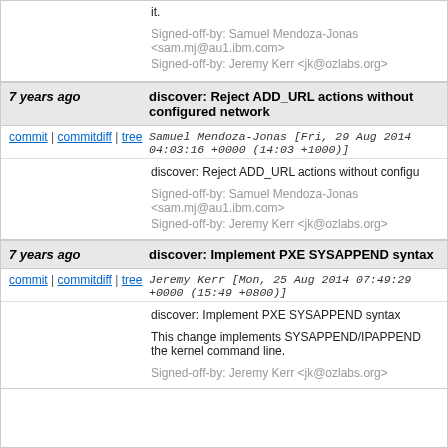it.

Signed-off-by: Samuel Mendoza-Jonas <sam.mj@au1.ibm.com>
Signed-off-by: Jeremy Kerr <jk@ozlabs.org>
7 years ago   discover: Reject ADD_URL actions without configured network
commit | commitdiff | tree   Samuel Mendoza-Jonas [Fri, 29 Aug 2014 04:03:16 +0000 (14:03 +1000)]
discover: Reject ADD_URL actions without configu...

Signed-off-by: Samuel Mendoza-Jonas <sam.mj@au1.ibm.com>
Signed-off-by: Jeremy Kerr <jk@ozlabs.org>
7 years ago   discover: Implement PXE SYSAPPEND syntax
commit | commitdiff | tree   Jeremy Kerr [Mon, 25 Aug 2014 07:49:29 +0000 (15:49 +0800)]
discover: Implement PXE SYSAPPEND syntax

This change implements SYSAPPEND/IPAPPEND... the kernel command line.

Signed-off-by: Jeremy Kerr <jk@ozlabs.org>